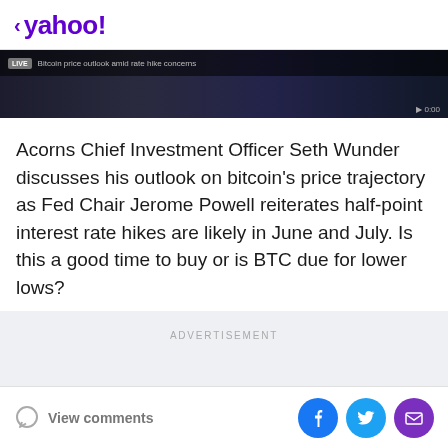< yahoo!
[Figure (screenshot): Dark video thumbnail showing a news broadcast or video segment with overlaid UI elements including a tag label and title bar]
Acorns Chief Investment Officer Seth Wunder discusses his outlook on bitcoin's price trajectory as Fed Chair Jerome Powell reiterates half-point interest rate hikes are likely in June and July. Is this a good time to buy or is BTC due for lower lows?
ADVERTISEMENT
View comments